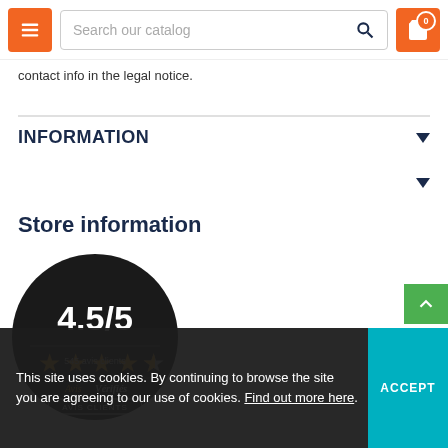Search our catalog
contact info in the legal notice.
INFORMATION
Store information
[Figure (other): Rating badge: 4.5/5 stars, 545 avis clients, Avis Vérifiés, AVIS CLIENTS button, circular dark badge]
This site uses cookies. By continuing to browse the site you are agreeing to our use of cookies. Find out more here.